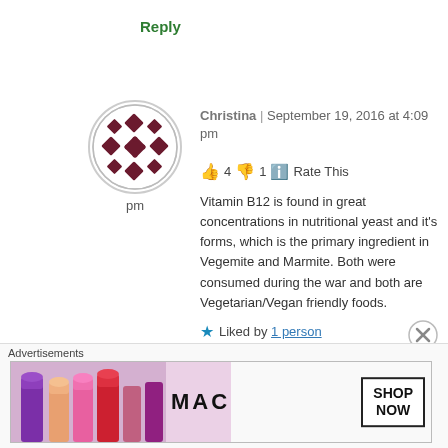Reply
[Figure (illustration): Avatar circle with geometric diamond/snowflake pattern in dark red/maroon on white background, with 'pm' text below]
Christina | September 19, 2016 at 4:09 pm
👍 4 👎 1 ℹ️ Rate This
Vitamin B12 is found in great concentrations in nutritional yeast and it's forms, which is the primary ingredient in Vegemite and Marmite. Both were consumed during the war and both are Vegetarian/Vegan friendly foods.
★ Liked by 1 person
Advertisements
[Figure (photo): MAC cosmetics advertisement banner showing colorful lipsticks (purple, pink, coral, red) on left, MAC brand name in center, and SHOP NOW button box on right]